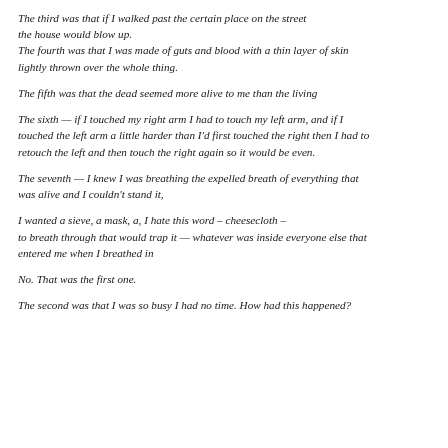The third was that if I walked past the certain place on the street the house would blow up.
The fourth was that I was made of guts and blood with a thin layer of skin lightly thrown over the whole thing.
The fifth was that the dead seemed more alive to me than the living
The sixth — if I touched my right arm I had to touch my left arm, and if I touched the left arm a little harder than I'd first touched the right then I had to retouch the left and then touch the right again so it would be even.
The seventh — I knew I was breathing the expelled breath of everything that was alive and I couldn't stand it,
I wanted a sieve, a mask, a, I hate this word – cheesecloth – to breath through that would trap it — whatever was inside everyone else that entered me when I breathed in
No. That was the first one.
The second was that I was so busy I had no time. How had this happened?